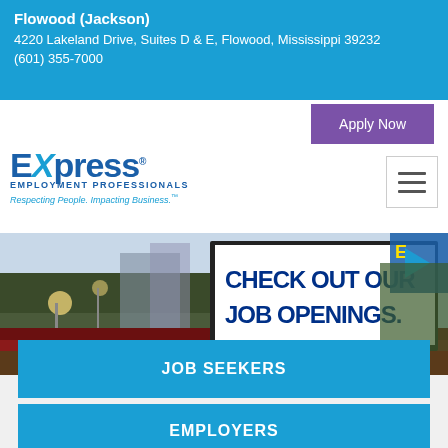Flowood (Jackson)
4220 Lakeland Drive, Suites D & E, Flowood, Mississippi 39232
(601) 355-7000
Apply Now
[Figure (logo): Express Employment Professionals logo with tagline 'Respecting People. Impacting Business.']
[Figure (photo): Billboard in urban street scene reading 'CHECK OUT OUR JOB OPENINGS.' with Express Employment Professionals branding]
JOB SEEKERS
EMPLOYERS